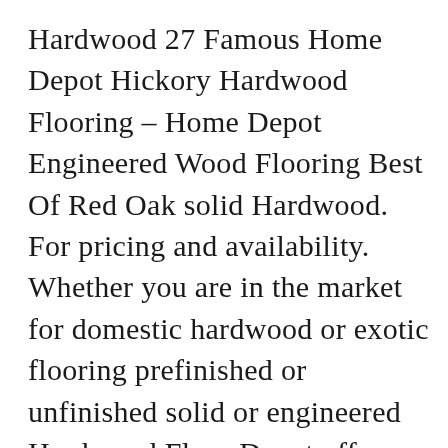Hardwood 27 Famous Home Depot Hickory Hardwood Flooring – Home Depot Engineered Wood Flooring Best Of Red Oak solid Hardwood. For pricing and availability. Whether you are in the market for domestic hardwood or exotic flooring prefinished or unfinished solid or engineered Hardwood Floor Depot offers a wide selection of different wood species colors and. Hickory flooring is durable and stylish and with many styles available today easy to use in just about any home setting. This near-